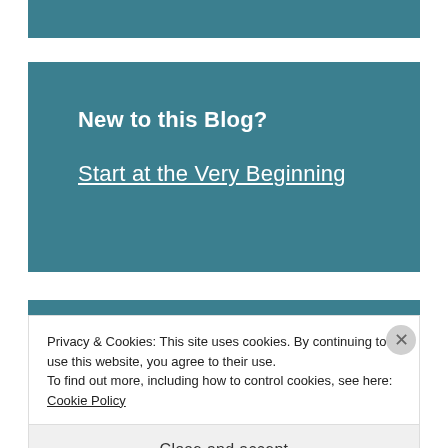[Figure (other): Teal/dark cyan colored banner strip at top of page]
New to this Blog?
Start at the Very Beginning
[Figure (other): Teal/dark cyan colored section at bottom of page]
Privacy & Cookies: This site uses cookies. By continuing to use this website, you agree to their use.
To find out more, including how to control cookies, see here: Cookie Policy
Close and accept